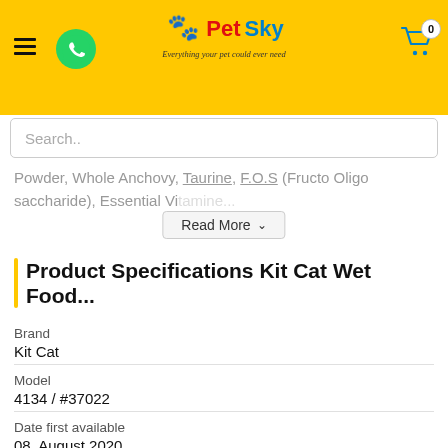Pet Sky - Everything your pet could ever need
Powder, Whole Anchovy, Taurine, F.O.S (Fructo Oligo saccharide), Essential Vi...
Product Specifications Kit Cat Wet Food...
| Field | Value |
| --- | --- |
| Brand | Kit Cat |
| Model | 4134 / #37022 |
| Date first available | 08, August 2020 |